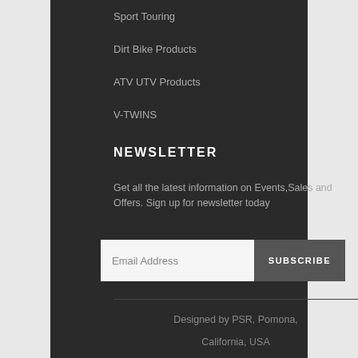Sport Touring
Dirt Bike Products
ATV UTV Products
V-TWINS
NEWSLETTER
Get all the latest information on Events,Sales and Offers. Sign up for newsletter today
Email Address  SUBSCRIBE
Designed by PSR, Pomona, California, USA